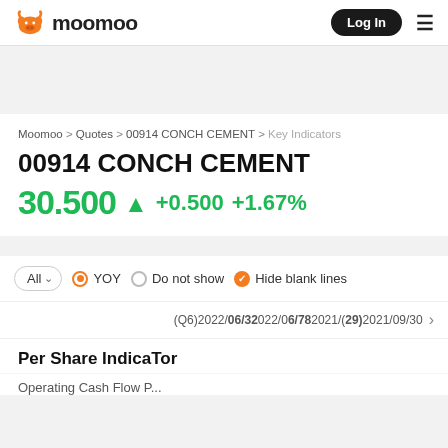moomoo | Log In
Moomoo > Quotes > 00914 CONCH CEMENT > Key Indicators
00914 CONCH CEMENT
30.500 ▲ +0.500 +1.67%
All ∨   ● YOY   ○ Do not show   ✓ Hide blank lines
(Q6)2022/06/30 2022/06/30 2022/09/30 2021/12/31 2021/09/30 >
Per Share IndicaTor
Operating Cash Flow P...